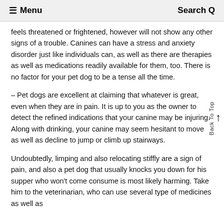≡ Menu    Search Q
feels threatened or frightened, however will not show any other signs of a trouble. Canines can have a stress and anxiety disorder just like individuals can, as well as there are therapies as well as medications readily available for them, too. There is no factor for your pet dog to be a tense all the time.
– Pet dogs are excellent at claiming that whatever is great, even when they are in pain. It is up to you as the owner to detect the refined indications that your canine may be injuring. Along with drinking, your canine may seem hesitant to move as well as decline to jump or climb up stairways.
Undoubtedly, limping and also relocating stiffly are a sign of pain, and also a pet dog that usually knocks you down for his supper who won't come consume is most likely harming. Take him to the veterinarian, who can use several type of medicines as well as